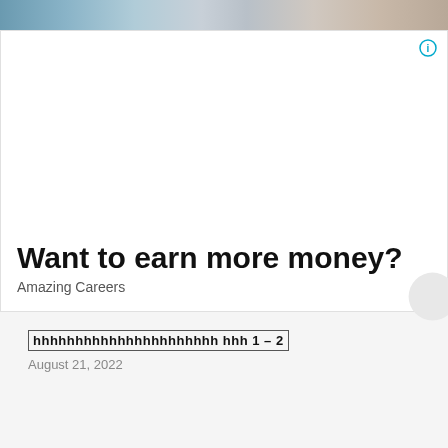[Figure (photo): Partial view of a photo showing people, cropped at top]
[Figure (infographic): Advertisement block with info icon in top right corner, headline 'Want to earn more money?' and subtext 'Amazing Careers']
Want to earn more money?
Amazing Careers
⬛⬛⬛⬛⬛⬛⬛⬛⬛⬛⬛⬛⬛⬛⬛⬛⬛⬛⬛⬛⬛⬛ ⬛⬛⬛ 1 – 2
August 21, 2022